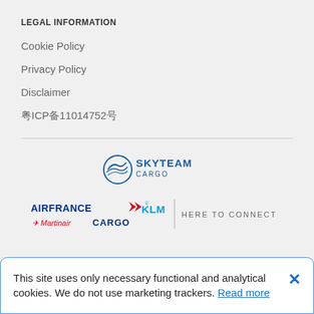LEGAL INFORMATION
Cookie Policy
Privacy Policy
Disclaimer
粤ICP备11014752号
[Figure (logo): SkyTeam Cargo logo]
[Figure (logo): Air France KLM Martinair Cargo – Here To Connect logo]
This site uses only necessary functional and analytical cookies. We do not use marketing trackers. Read more